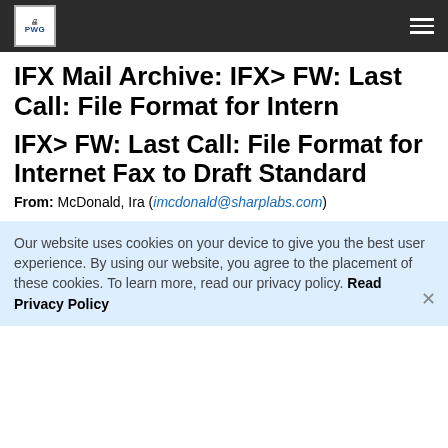PWG logo and navigation header
IFX Mail Archive: IFX&gt; FW: Last Call: File Format for Intern
IFX> FW: Last Call: File Format for Internet Fax to Draft Standard
From: McDonald, Ira (imcdonald@sharplabs.com)
Our website uses cookies on your device to give you the best user experience. By using our website, you agree to the placement of these cookies. To learn more, read our privacy policy. Read Privacy Policy